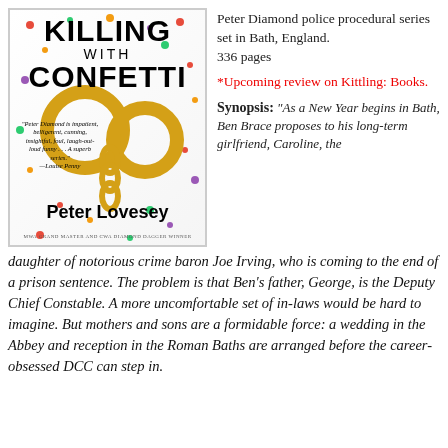[Figure (photo): Book cover for 'Killing with Confetti' by Peter Lovesey, featuring golden handcuffs with colorful confetti on a white background. Quote from Louise Penny. MWA Grand Master and CWA Diamond Dagger Winner noted at bottom.]
Peter Diamond police procedural series set in Bath, England.
336 pages
*Upcoming review on Kittling: Books.
Synopsis: "As a New Year begins in Bath, Ben Brace proposes to his long-term girlfriend, Caroline, the daughter of notorious crime baron Joe Irving, who is coming to the end of a prison sentence. The problem is that Ben's father, George, is the Deputy Chief Constable. A more uncomfortable set of in-laws would be hard to imagine. But mothers and sons are a formidable force: a wedding in the Abbey and reception in the Roman Baths are arranged before the career-obsessed DCC can step in.